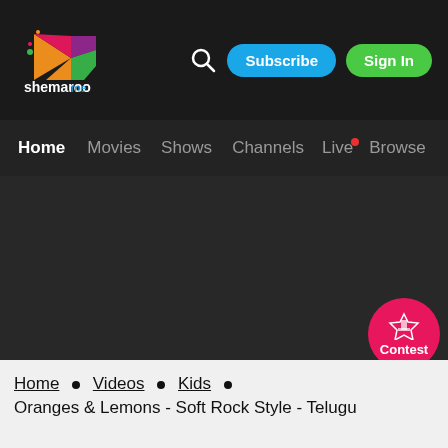[Figure (logo): Shemaroo Me logo - colorful play button with text shemaroo .me]
Subscribe  Sign In
Home  Movies  Shows  Channels  Live  Browse
[Figure (screenshot): Dark background main content area]
[Figure (infographic): Contest circular badge button (pink/red)]
Home • Videos • Kids • Oranges & Lemons - Soft Rock Style - Telugu